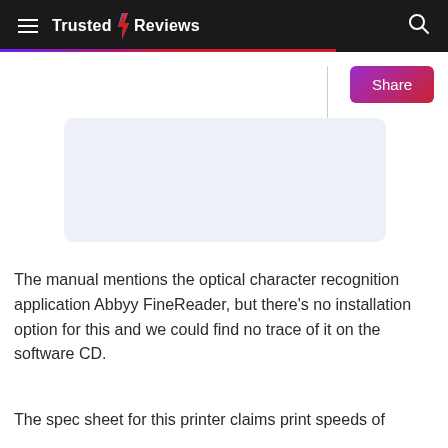Trusted Reviews
[Figure (other): Light blue-grey rectangular placeholder image block]
The manual mentions the optical character recognition application Abbyy FineReader, but there's no installation option for this and we could find no trace of it on the software CD.
The spec sheet for this printer claims print speeds of